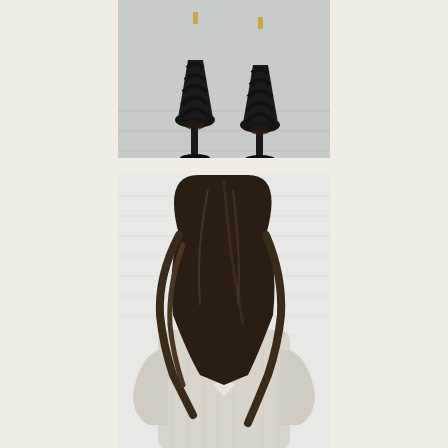[Figure (photo): Close-up photo of black strappy high-heeled sandals on a light grey wooden floor surface, viewed from above]
[Figure (photo): Portrait photo of a young woman with long wavy brunette hair, wearing a light grey/cream ribbed knit sweater and a geometric necklace, looking downward, standing against a white brick wall]